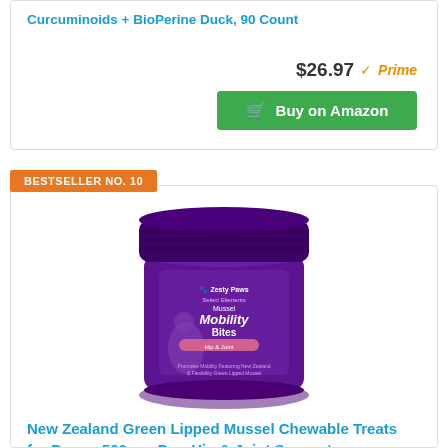Curcuminoids + BioPerine Duck, 90 Count
$26.97 ✓Prime
Buy on Amazon
BESTSELLER NO. 10
[Figure (photo): Purple cylindrical jar of Zesty Paws Select Elements Mussel Mobility Bites Hip & Joint supplement for dogs, 90 soft chews]
New Zealand Green Lipped Mussel Chewable Treats for Dogs - 500 mg Dog Hip & Joint Support Supplement Soft, 90 Count, Assorted